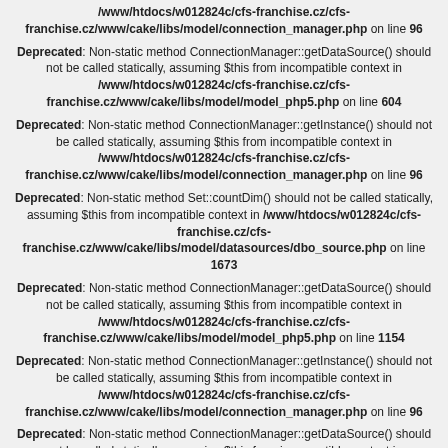/www/htdocs/w012824c/cfs-franchise.cz/cfs-franchise.cz/www/cake/libs/model/connection_manager.php on line 96
Deprecated: Non-static method ConnectionManager::getDataSource() should not be called statically, assuming $this from incompatible context in /www/htdocs/w012824c/cfs-franchise.cz/cfs-franchise.cz/www/cake/libs/model/model_php5.php on line 604
Deprecated: Non-static method ConnectionManager::getInstance() should not be called statically, assuming $this from incompatible context in /www/htdocs/w012824c/cfs-franchise.cz/cfs-franchise.cz/www/cake/libs/model/connection_manager.php on line 96
Deprecated: Non-static method Set::countDim() should not be called statically, assuming $this from incompatible context in /www/htdocs/w012824c/cfs-franchise.cz/cfs-franchise.cz/www/cake/libs/model/datasources/dbo_source.php on line 1673
Deprecated: Non-static method ConnectionManager::getDataSource() should not be called statically, assuming $this from incompatible context in /www/htdocs/w012824c/cfs-franchise.cz/cfs-franchise.cz/www/cake/libs/model/model_php5.php on line 1154
Deprecated: Non-static method ConnectionManager::getInstance() should not be called statically, assuming $this from incompatible context in /www/htdocs/w012824c/cfs-franchise.cz/cfs-franchise.cz/www/cake/libs/model/connection_manager.php on line 96
Deprecated: Non-static method ConnectionManager::getDataSource() should not be called statically, assuming $this from incompatible context in